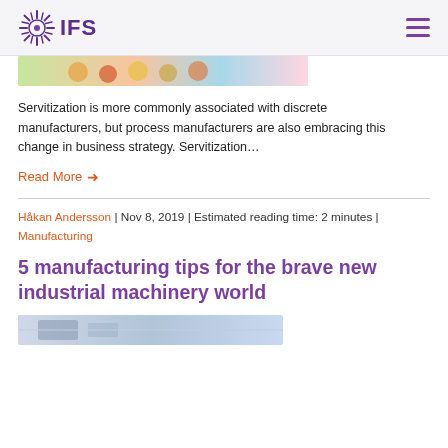IFS
[Figure (photo): Partial top image of food or produce, showing colorful items (apples or similar)]
Servitization is more commonly associated with discrete manufacturers, but process manufacturers are also embracing this change in business strategy. Servitization…
Read More ›
Håkan Andersson | Nov 8, 2019 | Estimated reading time: 2 minutes | Manufacturing
5 manufacturing tips for the brave new industrial machinery world
[Figure (photo): Bottom partial image showing industrial machinery or equipment in a manufacturing setting]